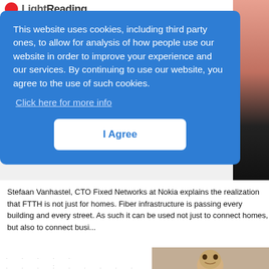[Figure (screenshot): LightReading website header logo partially visible in background]
This website uses cookies, including third party ones, to allow for analysis of how people use our website in order to improve your experience and our services. By continuing to use our website, you agree to the use of such cookies.
Click here for more info
I Agree
Stefaan Vanhastel, CTO Fixed Networks at Nokia explains the realization that FTTH is not just for homes. Fiber infrastructure is passing every building and every street. As such it can be used not just to connect homes, but also to connect busi...
[Figure (photo): Partial photo of a person's head/face at bottom right]
HOME  Sign In  SEARCH  MORE